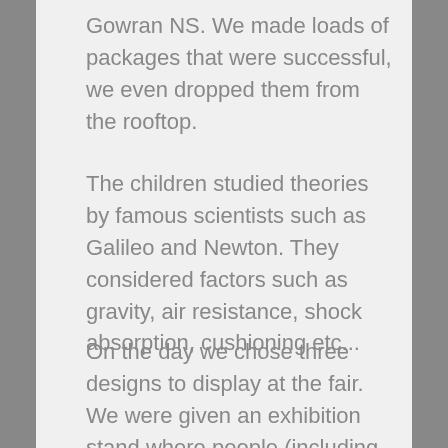Gowran NS. We made loads of packages that were successful, we even dropped them from the rooftop.
The children studied theories by famous scientists such as Galileo and Newton. They considered factors such as gravity, air resistance, shock absorption, cushioning etc...
On the day we chose three designs to display at the fair. We were given an exhibition stand where people (including judges) asked us all about our experiment and we allowed them to test out the packages - not one egg was broken!